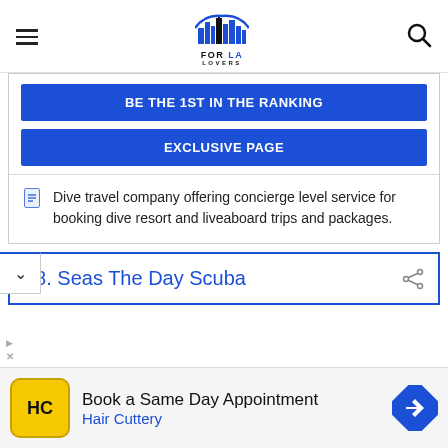FOR LA LOVERS
BE THE 1ST IN THE RANKING
EXCLUSIVE PAGE
Dive travel company offering concierge level service for booking dive resort and liveaboard trips and packages.
18. Seas The Day Scuba
[Figure (infographic): Advertisement banner: Hair Cuttery - Book a Same Day Appointment]